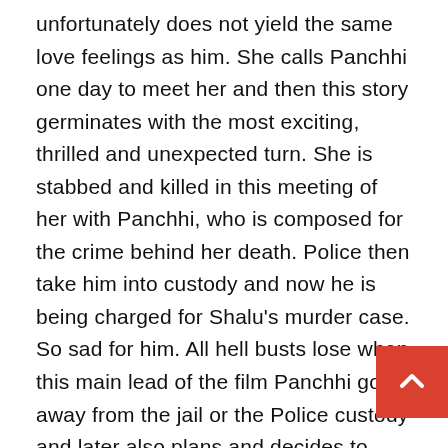unfortunately does not yield the same love feelings as him. She calls Panchhi one day to meet her and then this story germinates with the most exciting, thrilled and unexpected turn. She is stabbed and killed in this meeting of her with Panchhi, who is composed for the crime behind her death. Police then take him into custody and now he is being charged for Shalu's murder case. So sad for him. All hell busts lose when this main lead of the film Panchhi goes away from the jail or the Police custody and later also plans and decides to exercise the case in his own abilities. Well, let us see whether and how this psychologically distressed person, who is failed by the judiciary and police system, tried his best to sets out to resolve the crime and death mystery that has trapped him on his